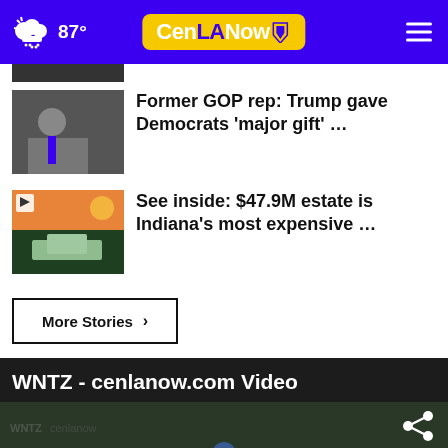CenLANow — 87° weather header
Former GOP rep: Trump gave Democrats 'major gift' …
See inside: $47.9M estate is Indiana's most expensive …
More Stories ▶
WNTZ - cenlanow.com Video
[Figure (screenshot): Video thumbnail showing a white baseball cap with a helmet logo, on a dark background with a share icon]